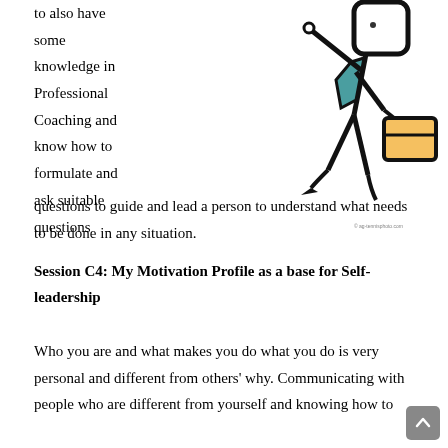to also have some knowledge in Professional Coaching and know how to formulate and ask suitable questions to guide and lead a person to understand what needs to be done in any situation.
[Figure (illustration): Stick figure illustration of a person walking briskly, wearing a teal top and carrying a yellow briefcase]
Session C4: My Motivation Profile as a base for Self-leadership
Who you are and what makes you do what you do is very personal and different from others' why. Communicating with people who are different from yourself and knowing how to